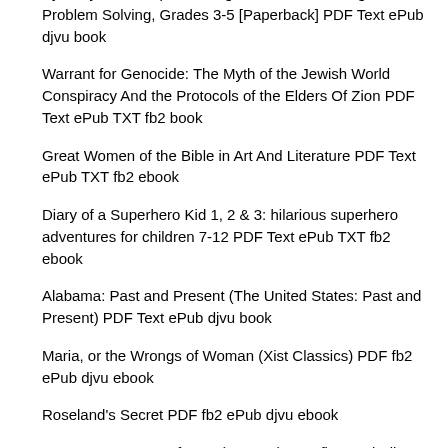By Mary Acute Implementing the CCSS'm through Problem Solving, Grades 3-5 [Paperback] PDF Text ePub djvu book
Warrant for Genocide: The Myth of the Jewish World Conspiracy And the Protocols of the Elders Of Zion PDF Text ePub TXT fb2 book
Great Women of the Bible in Art And Literature PDF Text ePub TXT fb2 ebook
Diary of a Superhero Kid 1, 2 & 3: hilarious superhero adventures for children 7-12 PDF Text ePub TXT fb2 ebook
Alabama: Past and Present (The United States: Past and Present) PDF Text ePub djvu book
Maria, or the Wrongs of Woman (Xist Classics) PDF fb2 ePub djvu ebook
Roseland's Secret PDF fb2 ePub djvu ebook
Scarecrow, Doctor of Fear (Batman) PDF fb2 ePub djvu ebook
CLUB HARLEY クラブハーレー2013年11月号 Vol.160特別号 (Japanese